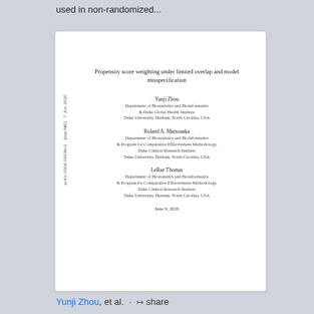used in non-randomized...
Propensity score weighting under limited overlap and model misspecification
Yunji Zhou
Department of Biostatistics and Bioinformatics
& Duke Global Health Institute
Duke University, Durham, North Carolina, USA
Roland A. Matsouaka
Department of Biostatistics and Bioinformatics
& Program for Comparative Effectiveness Methodology,
Duke Clinical Research Institute
Duke University, Durham, North Carolina, USA
LeRae Thomas
Department of Biostatistics and Bioinformatics
& Program for Comparative Effectiveness Methodology,
Duke Clinical Research Institute
Duke University, Durham, North Carolina, USA
June 9, 2020
arXiv:2006.04038v1  [stat.ME]  7 Jun 2020
Yunji Zhou, et al. · share